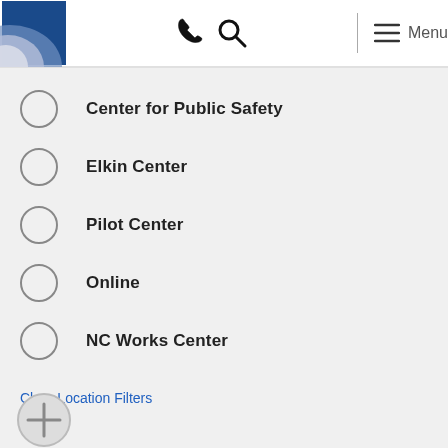Logo, phone icon, search icon, menu icon, Menu
Center for Public Safety
Elkin Center
Pilot Center
Online
NC Works Center
Clear Location Filters